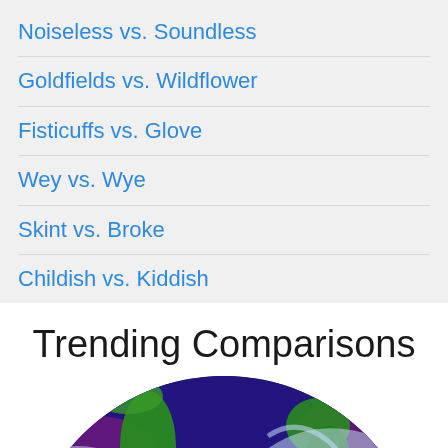Noiseless vs. Soundless
Goldfields vs. Wildflower
Fisticuffs vs. Glove
Wey vs. Wye
Skint vs. Broke
Childish vs. Kiddish
Trending Comparisons
[Figure (photo): Colorful satellite/scientific visualization of Earth's hemisphere showing continents in green and purple ocean patterns with white cloud-like swirls, bottom half of globe visible.]